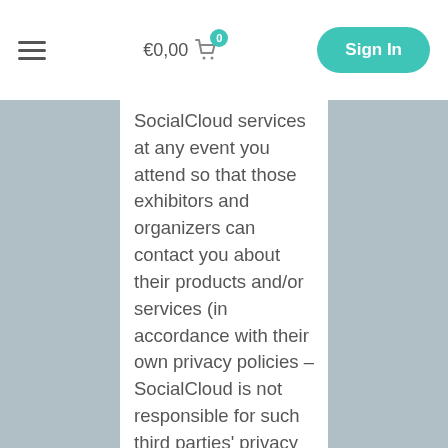€0,00  0  Sign In
SocialCloud services at any event you attend so that those exhibitors and organizers can contact you about their products and/or services (in accordance with their own privacy policies – SocialCloud is not responsible for such third parties' privacy practices